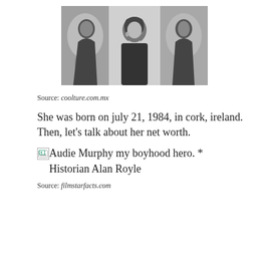[Figure (photo): Black and white photograph of a woman with dark hair, wearing a strapless outfit and a necklace, shown in a triptych/repeated composite format with abstract background]
Source: coolture.com.mx
She was born on july 21, 1984, in cork, ireland. Then, let's talk about her net worth.
[Figure (illustration): Broken image placeholder with alt text: Audie Murphy my boyhood hero. * Historian Alan Royle]
Source: filmstarfacts.com